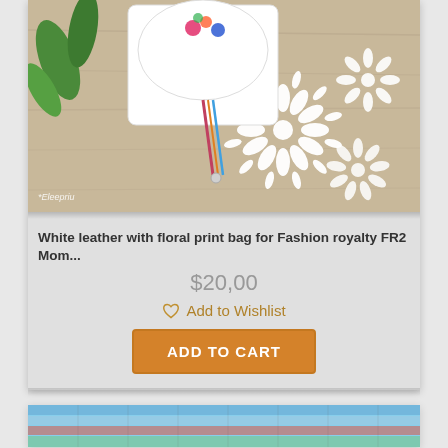[Figure (photo): White leather bag with floral embroidery, colorful strap/zipper pull, displayed on white floral decorative background with green leaves. Watermark reads 'Eleapriu' in bottom left.]
White leather with floral print bag for Fashion royalty FR2 Mom...
$20,00
Add to Wishlist
ADD TO CART
[Figure (photo): Partial view of a second product image showing a colorful wooden background (blue/red painted planks).]